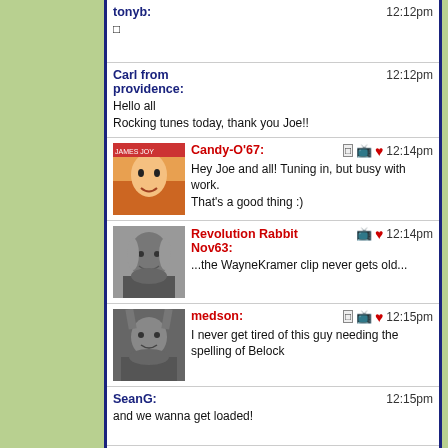tonyb: 12:12pm □
Carl from providence: 12:12pm Hello all Rocking tunes today, thank you Joe!!
Candy-O'67: 12:14pm Hey Joe and all! Tuning in, but busy with work. That's a good thing :)
Revolution Rabbit Nov63: 12:14pm ...the WayneKramer clip never gets old...
medson: 12:15pm I never get tired of this guy needing the spelling of Belock
SeanG: 12:15pm and we wanna get loaded!
(another) Patrick in Hoboken: 12:15pm I was just going to say, who was that producer who knew all about the rekkid buying public?